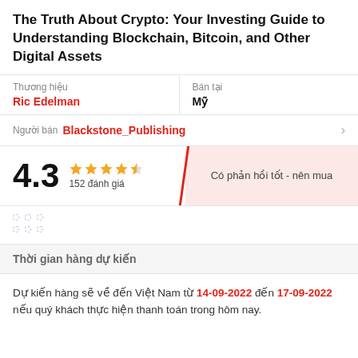The Truth About Crypto: Your Investing Guide to Understanding Blockchain, Bitcoin, and Other Digital Assets
| Thương hiệu | Bán tại |
| --- | --- |
| Ric Edelman | Mỹ |
Người bán  Blackstone_Publishing
4.3  ★★★★½  152 đánh giá  |  Có phản hồi tốt - nên mua
Thời gian hàng dự kiến
Dự kiến hàng sẽ về đến Việt Nam từ 14-09-2022 đến 17-09-2022 nếu quý khách thực hiện thanh toán trong hôm nay.